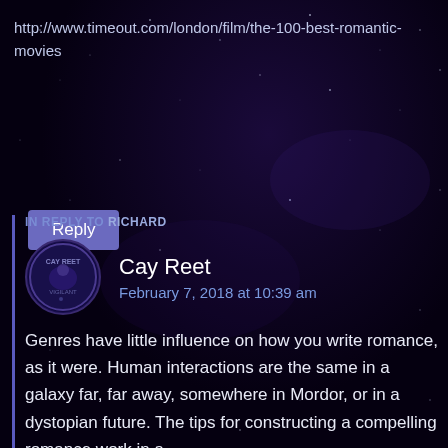http://www.timeout.com/london/film/the-100-best-romantic-movies
Reply
IN REPLY TO RICHARD
Cay Reet
February 7, 2018 at 10:39 am
Genres have little influence on how you write romance, as it were. Human interactions are the same in a galaxy far, far away, somewhere in Mordor, or in a dystopian future. The tips for constructing a compelling romance work in a